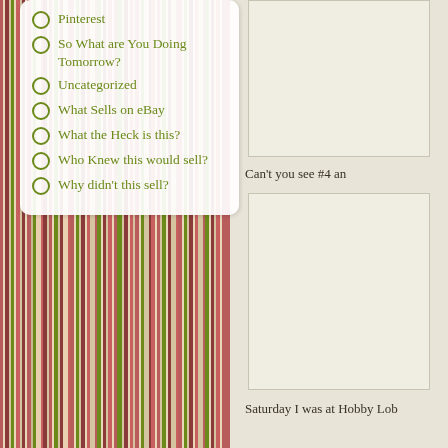[Figure (illustration): Vertical striped pattern sidebar with red, green, cream, and pink stripes on the left portion of the page]
Pinterest
So What are You Doing Tomorrow?
Uncategorized
What Sells on eBay
What the Heck is this?
Who Knew this would sell?
Why didn't this sell?
[Figure (photo): Top image box on the right side, cream/beige colored rectangle]
Can't you see #4 an
[Figure (photo): Large image box on the lower right side, cream/beige colored rectangle]
Saturday I was at Hobby Lob